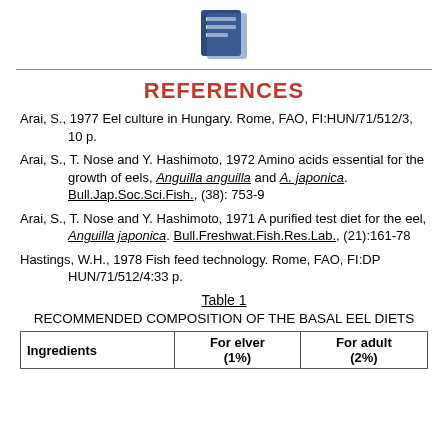[Figure (logo): Blue document/book icon with lines, centered at top of page]
REFERENCES
Arai, S., 1977 Eel culture in Hungary. Rome, FAO, FI:HUN/71/512/3, 10 p.
Arai, S., T. Nose and Y. Hashimoto, 1972 Amino acids essential for the growth of eels, Anguilla anguilla and A. japonica. Bull.Jap.Soc.Sci.Fish., (38): 753-9
Arai, S., T. Nose and Y. Hashimoto, 1971 A purified test diet for the eel, Anguilla japonica. Bull.Freshwat.Fish.Res.Lab., (21):161-78
Hastings, W.H., 1978 Fish feed technology. Rome, FAO, FI:DP HUN/71/512/4:33 p.
Table 1
RECOMMENDED COMPOSITION OF THE BASAL EEL DIETS
| Ingredients | For elver (1%) | For adult (2%) |
| --- | --- | --- |